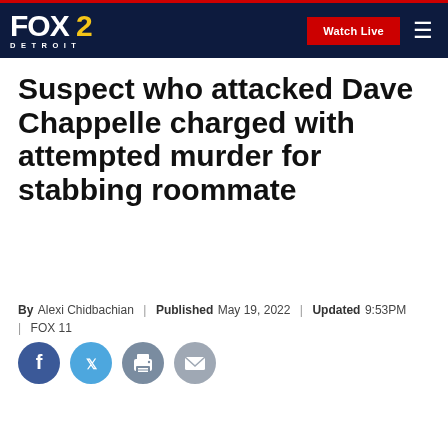FOX 2 DETROIT | Watch Live
Suspect who attacked Dave Chappelle charged with attempted murder for stabbing roommate
By Alexi Chidbachian | Published May 19, 2022 | Updated 9:53PM | FOX 11
[Figure (other): Social sharing icons: Facebook, Twitter, Print, Email]